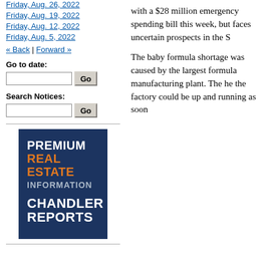Friday, Aug. 26, 2022
Friday, Aug. 19, 2022
Friday, Aug. 12, 2022
Friday, Aug. 5, 2022
« Back | Forward »
Go to date:
Search Notices:
[Figure (logo): Chandler Reports Premium Real Estate Information advertisement logo with dark navy blue background, orange 'REAL ESTATE' text, white 'PREMIUM', 'INFORMATION', 'CHANDLER', 'REPORTS' text]
with a $28 million emergency spending bill this week, but faces uncertain prospects in the S
The baby formula shortage was caused by the largest formula manufacturing plant. The he the factory could be up and running as soon